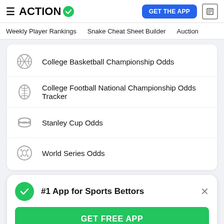ACTION
Weekly Player Rankings  Snake Cheat Sheet Builder  Auction
College Basketball Championship Odds
College Football National Championship Odds Tracker
Stanley Cup Odds
World Series Odds
#1 App for Sports Bettors
GET FREE APP